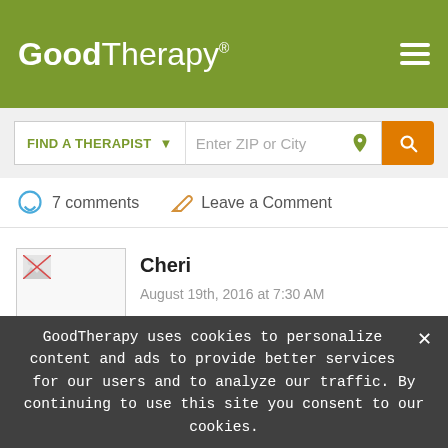[Figure (logo): GoodTherapy logo in white text on olive-green header with hamburger menu icon]
[Figure (screenshot): Find a Therapist search bar with Enter ZIP or City input and orange search button]
7 comments   Leave a Comment
[Figure (photo): User avatar placeholder image (broken image icon)]
Cheri
August 19th, 2016 at 7:30 AM
love that meditation mantra
Reply
GoodTherapy uses cookies to personalize content and ads to provide better services for our users and to analyze our traffic. By continuing to use this site you consent to our cookies.